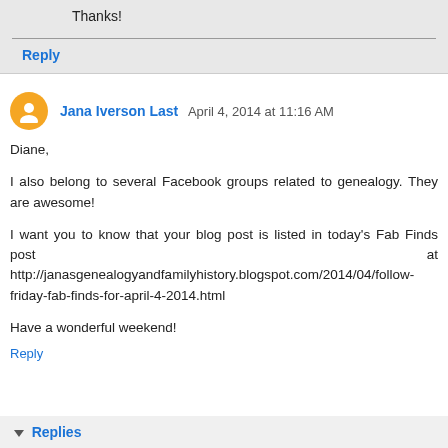Thanks!
Reply
Jana Iverson Last  April 4, 2014 at 11:16 AM
Diane,

I also belong to several Facebook groups related to genealogy. They are awesome!

I want you to know that your blog post is listed in today's Fab Finds post at http://janasgenealogyandfamilyhistory.blogspot.com/2014/04/follow-friday-fab-finds-for-april-4-2014.html

Have a wonderful weekend!
Reply
Replies